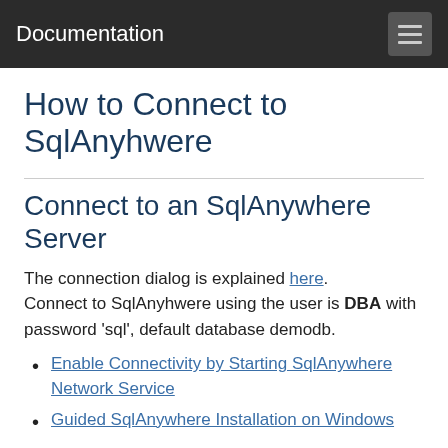Documentation
How to Connect to SqlAnyhwere
Connect to an SqlAnywhere Server
The connection dialog is explained here. Connect to SqlAnyhwere using the user is DBA with password 'sql', default database demodb.
Enable Connectivity by Starting SqlAnywhere Network Service
Guided SqlAnywhere Installation on Windows
Firewalls & anti-viruses may block